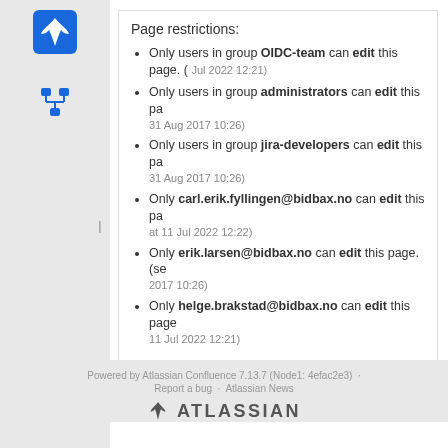Page restrictions:
Only users in group OIDC-team can edit this page. (Jul 2022 12:21)
Only users in group administrators can edit this page. (31 Aug 2017 10:26)
Only users in group jira-developers can edit this page. (31 Aug 2017 10:26)
Only carl.erik.fyllingen@bidbax.no can edit this page. (at 11 Jul 2022 12:22)
Only erik.larsen@bidbax.no can edit this page. (se 2017 10:26)
Only helge.brakstad@bidbax.no can edit this page. (11 Jul 2022 12:21)
Powered by Atlassian Confluence 7.13.7 (Node1: 4efac2e3) · Report a bug · Atlassian News